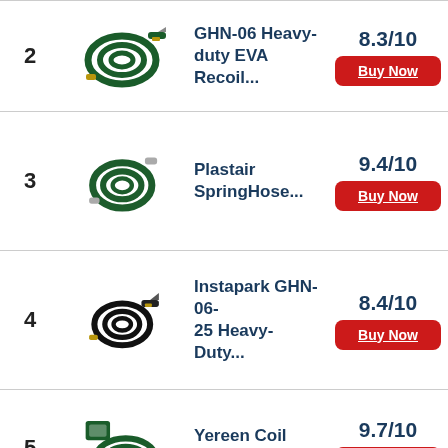2 | GHN-06 Heavy-duty EVA Recoil... | 8.3/10 | Buy Now
3 | Plastair SpringHose... | 9.4/10 | Buy Now
4 | Instapark GHN-06-25 Heavy-Duty... | 8.4/10 | Buy Now
5 | Yereen Coil Garden Hose... | 9.7/10 | Buy Now